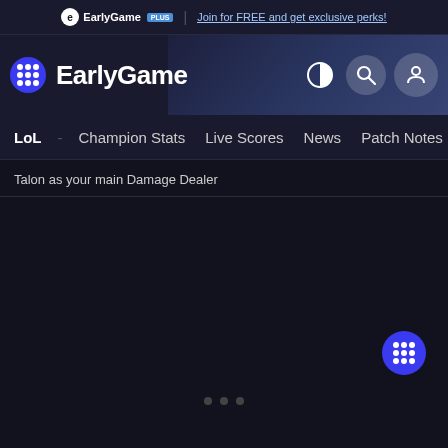EarlyGame PLUS | Join for FREE and get exclusive perks!
[Figure (screenshot): EarlyGame website header with logo, navigation icons (contrast, search, profile)]
LoL - Champion Stats Live Scores News Patch Notes Ski...
Talon as your main Damage Dealer